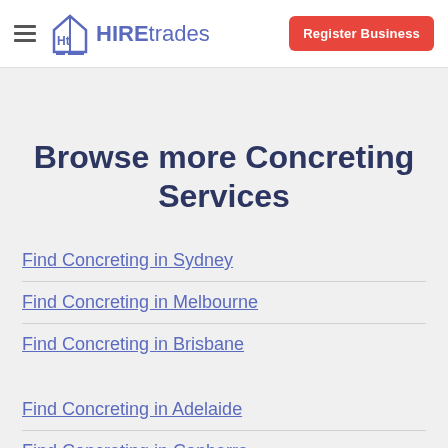HIREtrades — Register Business
Browse more Concreting Services
Find Concreting in Sydney
Find Concreting in Melbourne
Find Concreting in Brisbane
Find Concreting in Adelaide
Find Concreting in Canberra